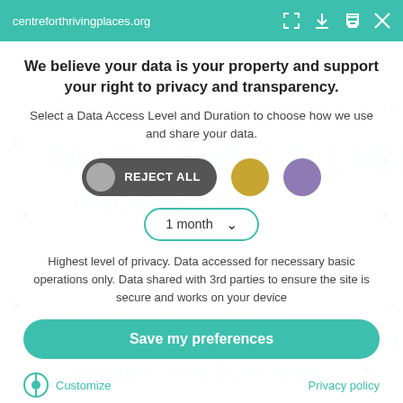centreforthrivingplaces.org
We believe your data is your property and support your right to privacy and transparency.
Select a Data Access Level and Duration to choose how we use and share your data.
[Figure (screenshot): Privacy consent dialog with REJECT ALL button, gold circle button, purple circle button, and a 1 month dropdown selector]
Highest level of privacy. Data accessed for necessary basic operations only. Data shared with 3rd parties to ensure the site is secure and works on your device
Save my preferences
Customize    Privacy policy